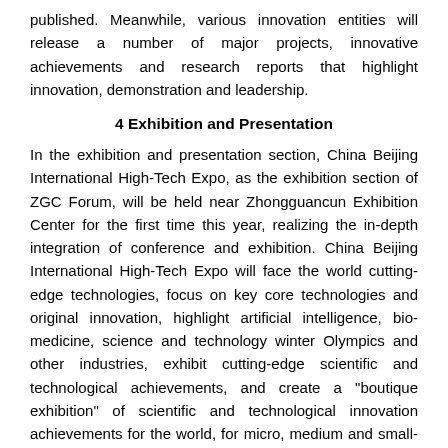published. Meanwhile, various innovation entities will release a number of major projects, innovative achievements and research reports that highlight innovation, demonstration and leadership.
4 Exhibition and Presentation
In the exhibition and presentation section, China Beijing International High-Tech Expo, as the exhibition section of ZGC Forum, will be held near Zhongguancun Exhibition Center for the first time this year, realizing the in-depth integration of conference and exhibition. China Beijing International High-Tech Expo will face the world cutting-edge technologies, focus on key core technologies and original innovation, highlight artificial intelligence, bio-medicine, science and technology winter Olympics and other industries, exhibit cutting-edge scientific and technological achievements, and create a "boutique exhibition" of scientific and technological innovation achievements for the world, for micro, medium and small-sized enterprises and start-ups, and linking the capital market.
5 Frontline contest